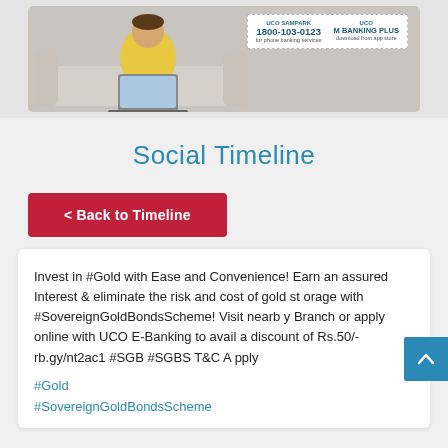[Figure (photo): UCO Bank advertisement image showing a person with a laptop on a sofa, with UCO SAMPARK phone banking number 1800-103-0123 and UCO M BANKING PLUS app store download info]
Social Timeline
< Back to Timeline
Invest in #Gold with Ease and Convenience! Earn an assured Interest & eliminate the risk and cost of gold storage with #SovereignGoldBondsScheme! Visit nearby Branch or apply online with UCO E-Banking to avail a discount of Rs.50/- rb.gy/nt2ac1 #SGB #SGBS T&C Apply
#Gold
#SovereignGoldBondsScheme